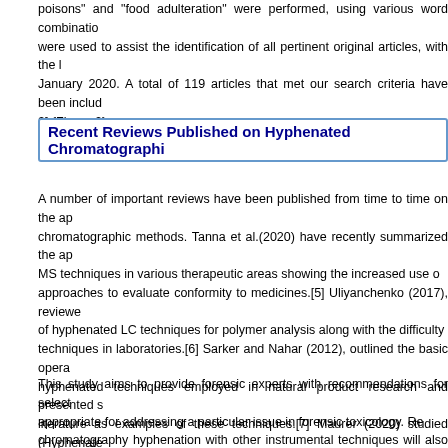poisons" and "food adulteration" were performed, using various word combinations were used to assist the identification of all pertinent original articles, with the last search January 2020. A total of 119 articles that met our search criteria have been included [Table 2].{Figure 2}
Recent Reviews Published on Hyphenated Chromatographic
A number of important reviews have been published from time to time on the application of chromatographic methods. Tanna et al.(2020) have recently summarized the application of MS techniques in various therapeutic areas showing the increased use of hyphenated approaches to evaluate conformity to medicines.[5] Uliyanchenko (2017), reviewed the use of hyphenated LC techniques for polymer analysis along with the difficulty of using such techniques in laboratories.[6] Sarker and Nahar (2012), outlined the basic operation of hyphenated techniques employed in natural product research and presented samples from literature as examples of these techniques.[7] Maurer (2020) studied (Hyphenated) approaches and uncovered this methodology that meets the requirements of analytical clinical and forensic toxicology's various applications (such as targeted and untargeted quantification, drug metabolism, and metabolomics).[8]
This study aims to provide forensic experts with recommendations for selecting the most appropriate for addressing a particular issue in forensic toxicology. Recent trends in chromatography hyphenation with other instrumental techniques will also be explored. Readers will be directed to additional comprehensive publications on each subject.